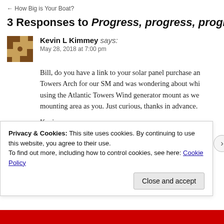← How Big is Your Boat?
3 Responses to Progress, progress, progre…
Kevin L Kimmey says: May 28, 2018 at 7:00 pm
Bill, do you have a link to your solar panel purchase an… Towers Arch for our SM and was wondering about whi… using the Atlantic Towers Wind generator mount as we… mounting area as you. Just curious, thanks in advance.
Kevin
Privacy & Cookies: This site uses cookies. By continuing to use this website, you agree to their use. To find out more, including how to control cookies, see here: Cookie Policy
Close and accept